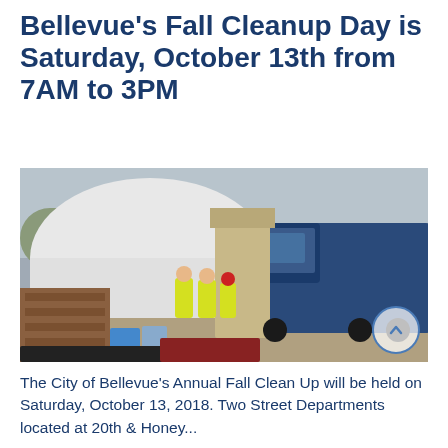Bellevue's Fall Cleanup Day is Saturday, October 13th from 7AM to 3PM
[Figure (photo): Outdoor cleanup event scene showing workers in yellow safety vests, a large garbage truck being loaded, and a white dome-shaped structure in the background.]
The City of Bellevue's Annual Fall Clean Up will be held on Saturday, October 13, 2018. Two Street Departments located at 20th & Honey...